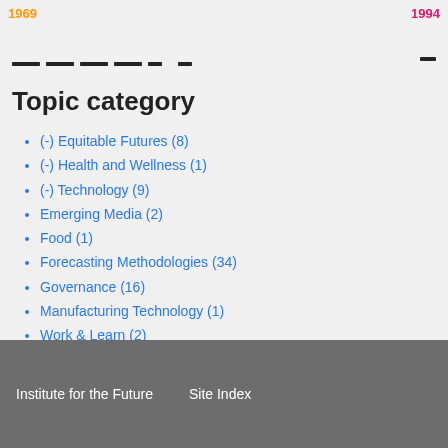1969  1994
Topic category
(-) Equitable Futures (8)
(-) Health and Wellness (1)
(-) Technology (9)
Emerging Media (2)
Food (1)
Forecasting Methodologies (34)
Governance (16)
Manufacturing Technology (1)
Work & Learn (2)
Institute for the Future   Site Index